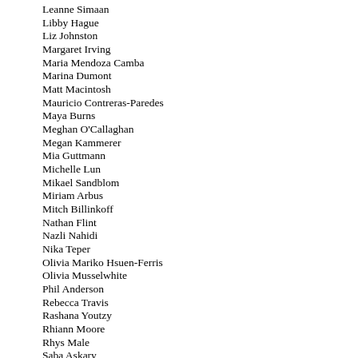Leanne Simaan
Libby Hague
Liz Johnston
Margaret Irving
Maria Mendoza Camba
Marina Dumont
Matt Macintosh
Mauricio Contreras-Paredes
Maya Burns
Meghan O'Callaghan
Megan Kammerer
Mia Guttmann
Michelle Lun
Mikael Sandblom
Miriam Arbus
Mitch Billinkoff
Nathan Flint
Nazli Nahidi
Nika Teper
Olivia Mariko Hsuen-Ferris
Olivia Musselwhite
Phil Anderson
Rebecca Travis
Rashana Youtzy
Rhiann Moore
Rhys Male
Saba Askary
Salomeh Ahmadi
Seowon Bang
Simon Termine
Steve Rockwell
Sunny Kim
Summer Sun
Tara Akitt
Tricia Ali…